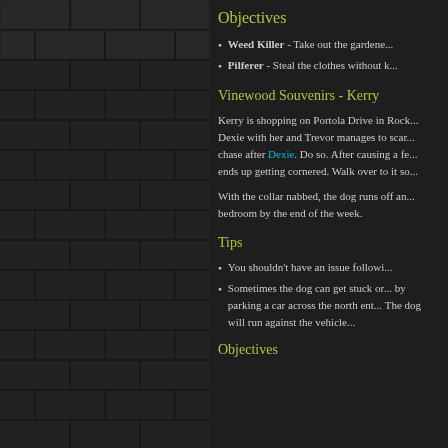Objectives
Weed Killer - Take out the gardener...
Pilferer - Steal the clothes without k...
Vinewood Souvenirs - Kerry
Kerry is shopping on Portola Drive in Rock... Dexie with her and Trevor manages to scar... chase after Dexie. Do so. After causing a fe... ends up getting cornered. Walk over to it so...
With the collar nabbed, the dog runs off an... bedroom by the end of the week.
Tips
You shouldn't have an issue followi...
Sometimes the dog can get stuck or... by parking a car across the north ent... The dog will run against the vehicle...
Objectives